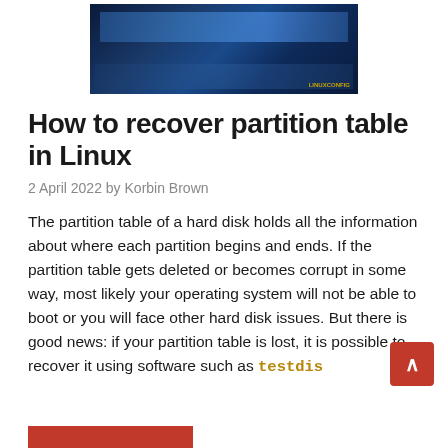[Figure (photo): Close-up photo of computer hard disk drives with blue lighting, showing RAM and HDD components. Watermark text visible in lower right.]
How to recover partition table in Linux
2 April 2022 by Korbin Brown
The partition table of a hard disk holds all the information about where each partition begins and ends. If the partition table gets deleted or becomes corrupt in some way, most likely your operating system will not be able to boot or you will face other hard disk issues. But there is good news: if your partition table is lost, it is possible to recover it using software such as testdisk